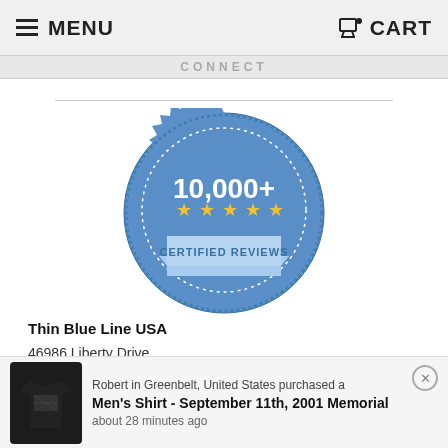MENU  CART
CONNECT
[Figure (illustration): Blue circular badge seal with text '10,000+' in large white font, five gold stars below it, and a ribbon banner reading 'CERTIFIED REVIEWS']
Thin Blue Line USA
46986 Liberty Drive
Wixom, Michigan 48393 USA
Tel: (248) 415-5537
Email: info@thinbluelineusa.com
Robert in Greenbelt, United States purchased a
Men's Shirt - September 11th, 2001 Memorial
about 28 minutes ago